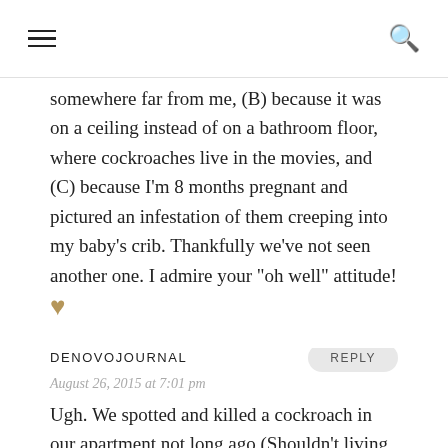≡  Q
somewhere far from me, (B) because it was on a ceiling instead of on a bathroom floor, where cockroaches live in the movies, and (C) because I'm 8 months pregnant and pictured an infestation of them creeping into my baby's crib. Thankfully we've not seen another one. I admire your "oh well" attitude! ♥
DENOVOJOURNAL
August 26, 2015 at 7:01 pm
Ugh. We spotted and killed a cockroach in our apartment not long ago (Shouldn't living on the 8th floor make